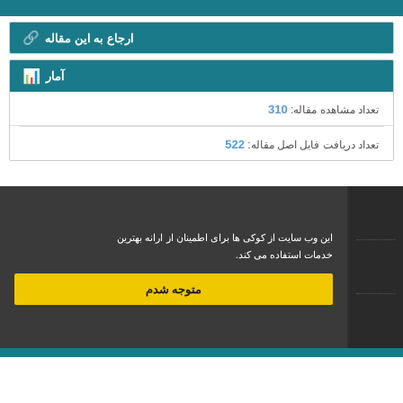ارجاع به این مقاله
آمار
تعداد مشاهده مقاله: 310
تعداد دریافت فایل اصل مقاله: 522
این وب سایت از کوکی ها برای اطمینان از ارانه بهترین خدمات استفاده می کند.
متوجه شدم